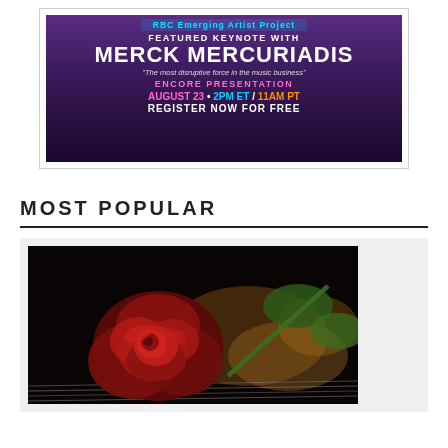[Figure (infographic): Advertisement banner: RBC Emerging Artist Project - Featured Keynote with Merck Mercuriadis. 'The most disruptive force in the music business'. Encore Presentation. August 23 • 2PM ET / 11AM PT. Register Now For Free.]
MOST POPULAR
[Figure (photo): A red rose lying on guitar strings, dark moody background with bokeh lighting.]